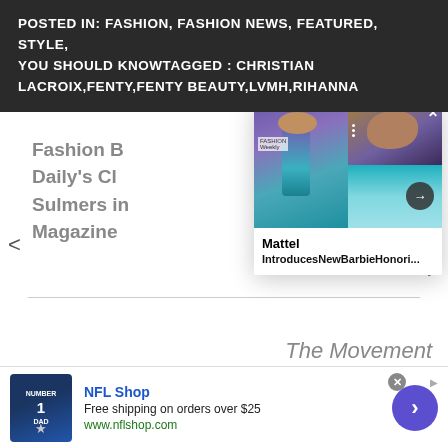POSTED IN: FASHION, FASHION NEWS, FEATURED, STYLE, YOU SHOULD KNOWTAGGED : CHRISTIAN LACROIX,FENTY,FENTY BEAUTY,LVMH,RIHANNA
Fashion B Daily's Cl Sulmers in Magazine
[Figure (screenshot): Popup card showing Mattel Introduces New Barbie Honori... with images of a Barbie doll wearing purple and teal dress, with close and arrow navigation controls]
The Movement
[Figure (screenshot): Advertisement for NFL Shop with football jersey image, text: NFL Shop, Free shipping on orders over $25, www.nflshop.com, with purple CTA circle arrow button]